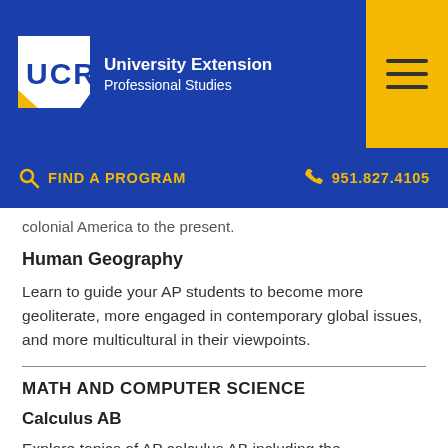[Figure (logo): UCR University Extension Professional Studies logo with hamburger menu button on blue header bar]
FIND A PROGRAM   951.827.4105
colonial America to the present.
Human Geography
Learn to guide your AP students to become more geoliterate, more engaged in contemporary global issues, and more multicultural in their viewpoints.
MATH AND COMPUTER SCIENCE
Calculus AB
Explore topics of AP calculus AB including the